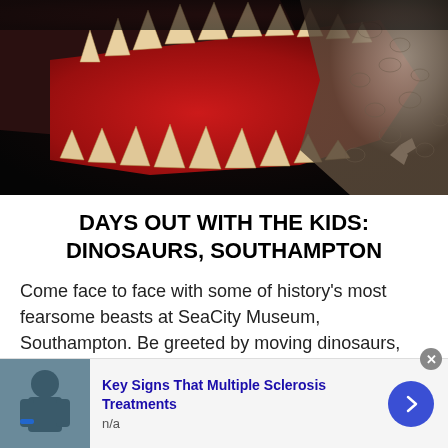[Figure (photo): Close-up photo of a dinosaur model or animatronic with open mouth showing large sharp teeth, red interior, dark background]
DAYS OUT WITH THE KIDS: DINOSAURS, SOUTHAMPTON
Come face to face with some of history's most fearsome beasts at SeaCity Museum, Southampton. Be greeted by moving dinosaurs, discover more about man's obsession with these gigantic creatures and uncover how new techniques are helping us understand more about the
Key Signs That Multiple Sclerosis Treatments
n/a